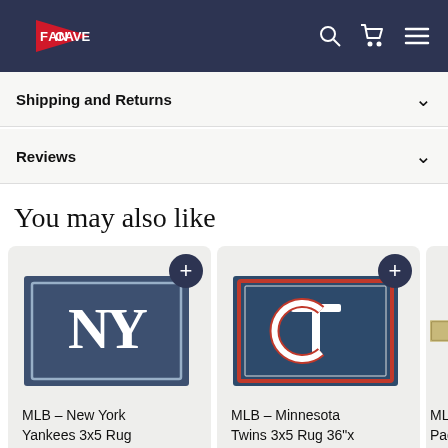FanCave (logo with nav icons)
Shipping and Returns
Reviews
You may also like
[Figure (photo): MLB - New York Yankees 3x5 Rug 36"x 60" product card with navy/white NY logo rug image]
MLB - New York Yankees 3x5 Rug 36"x 60"
[Figure (photo): MLB - Minnesota Twins 3x5 Rug 36"x 60" product card with navy/red TC logo rug image]
MLB - Minnesota Twins 3x5 Rug 36"x 60"
[Figure (photo): MLB - Padres partial product card (partially visible)]
MLB - Padres 60"